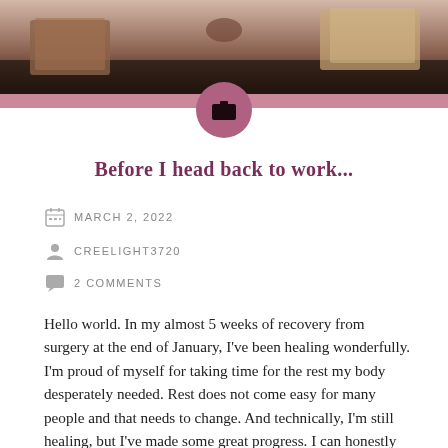[Figure (photo): Hero image of desk items including notebooks and other objects on a dark wooden surface]
Before I head back to work...
MARCH 2, 2022
CREELIGHT3720
2 COMMENTS
Hello world. In my almost 5 weeks of recovery from surgery at the end of January, I've been healing wonderfully. I'm proud of myself for taking time for the rest my body desperately needed. Rest does not come easy for many people and that needs to change. And technically, I'm still healing, but I've made some great progress. I can honestly say this surgery (hysterectomy) was one of the best things I've done for my body! Remember, I